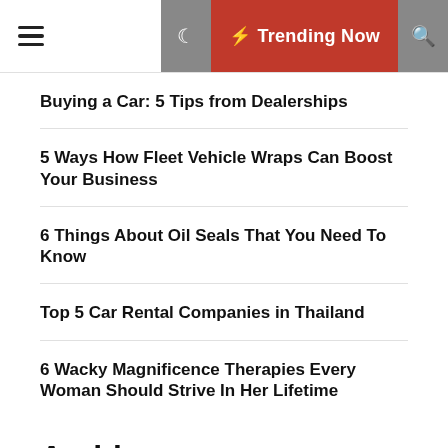Trending Now
Buying a Car: 5 Tips from Dealerships
5 Ways How Fleet Vehicle Wraps Can Boost Your Business
6 Things About Oil Seals That You Need To Know
Top 5 Car Rental Companies in Thailand
6 Wacky Magnificence Therapies Every Woman Should Strive In Her Lifetime
Archives
[Figure (photo): Van with vehicle wrap]
5 Ways How Fleet Vehicle Wraps Can Boost Your Business
[Figure (photo): Gray placeholder image]
6 Thing... Need To...